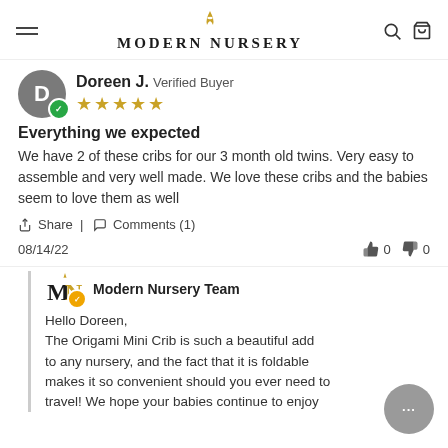Modern Nursery
Doreen J. Verified Buyer ★★★★★
Everything we expected
We have 2 of these cribs for our 3 month old twins. Very easy to assemble and very well made. We love these cribs and the babies seem to love them as well
Share | Comments (1)
08/14/22  👍 0  👎 0
Modern Nursery Team
Hello Doreen,
The Origami Mini Crib is such a beautiful add to any nursery, and the fact that it is foldable makes it so convenient should you ever need to travel! We hope your babies continue to enjoy